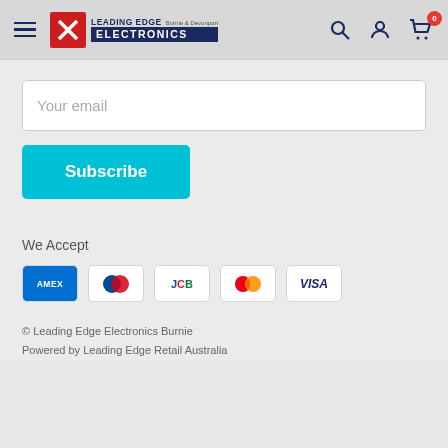[Figure (logo): Leading Edge Electronics Burnie & Devonport logo with navigation icons (hamburger menu, search, account, cart with 0 badge)]
Your email
Subscribe
We Accept
[Figure (infographic): Payment method icons: American Express (AMEX), Diners Club, JCB, Mastercard, VISA]
© Leading Edge Electronics Burnie
Powered by Leading Edge Retail Australia